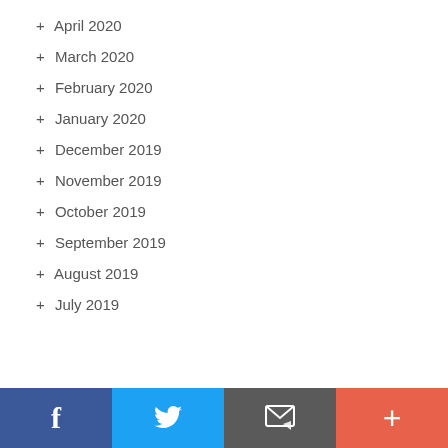+ April 2020
+ March 2020
+ February 2020
+ January 2020
+ December 2019
+ November 2019
+ October 2019
+ September 2019
+ August 2019
+ July 2019
Facebook | Twitter | Email | More